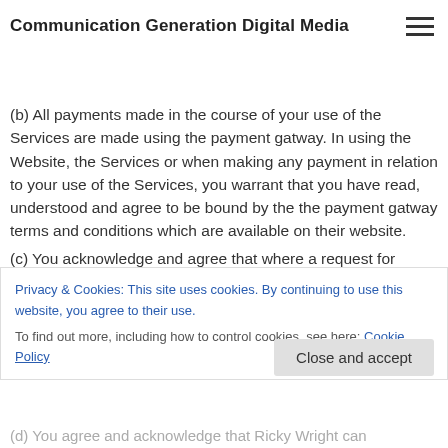Communication Generation Digital Media
(a) Where the option is given to you, you may make payment by way of:
(b) All payments made in the course of your use of the Services are made using the payment gatway. In using the Website, the Services or when making any payment in relation to your use of the Services, you warrant that you have read, understood and agree to be bound by the the payment gatway terms and conditions which are available on their website.
(c) You acknowledge and agree that where a request for
Privacy & Cookies: This site uses cookies. By continuing to use this website, you agree to their use.
To find out more, including how to control cookies, see here: Cookie Policy
Close and accept
(d) You agree and acknowledge that Ricky Wright can